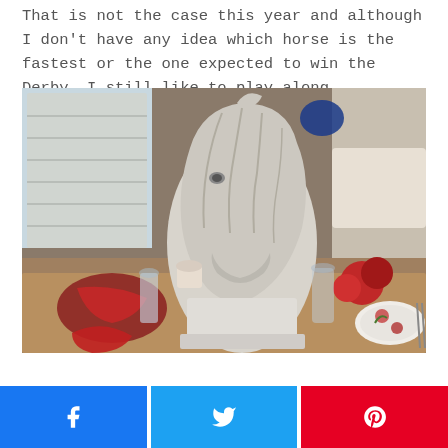That is not the case this year and although I don't have any idea which horse is the fastest or the one expected to win the Derby, I still like to play along.
[Figure (photo): A white/grey ceramic or plaster horse head statue on a table set with red roses plates, red napkins, and glassware. Window with shutters visible in background.]